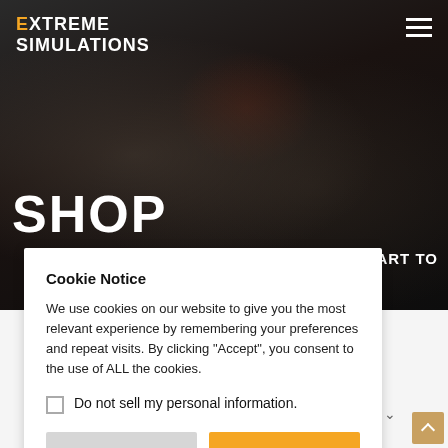[Figure (photo): Dark background photo showing people performing emergency medical simulation on a person lying down, with apparent wounds visible]
EXTREME SIMULATIONS
SHOP
UR CART TO
Cookie Notice
We use cookies on our website to give you the most relevant experience by remembering your preferences and repeat visits. By clicking “Accept”, you consent to the use of ALL the cookies.
Do not sell my personal information.
Cookie Settings
Accept